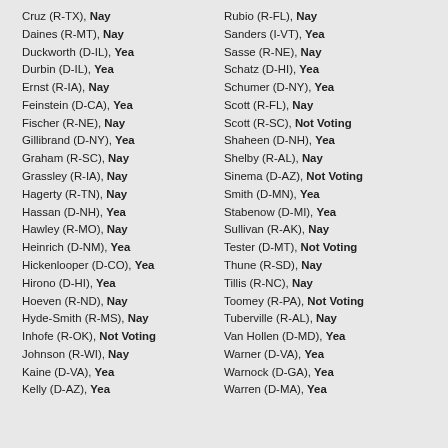Cruz (R-TX), Nay
Daines (R-MT), Nay
Duckworth (D-IL), Yea
Durbin (D-IL), Yea
Ernst (R-IA), Nay
Feinstein (D-CA), Yea
Fischer (R-NE), Nay
Gillibrand (D-NY), Yea
Graham (R-SC), Nay
Grassley (R-IA), Nay
Hagerty (R-TN), Nay
Hassan (D-NH), Yea
Hawley (R-MO), Nay
Heinrich (D-NM), Yea
Hickenlooper (D-CO), Yea
Hirono (D-HI), Yea
Hoeven (R-ND), Nay
Hyde-Smith (R-MS), Nay
Inhofe (R-OK), Not Voting
Johnson (R-WI), Nay
Kaine (D-VA), Yea
Kelly (D-AZ), Yea
Rubio (R-FL), Nay
Sanders (I-VT), Yea
Sasse (R-NE), Nay
Schatz (D-HI), Yea
Schumer (D-NY), Yea
Scott (R-FL), Nay
Scott (R-SC), Not Voting
Shaheen (D-NH), Yea
Shelby (R-AL), Nay
Sinema (D-AZ), Not Voting
Smith (D-MN), Yea
Stabenow (D-MI), Yea
Sullivan (R-AK), Nay
Tester (D-MT), Not Voting
Thune (R-SD), Nay
Tillis (R-NC), Nay
Toomey (R-PA), Not Voting
Tuberville (R-AL), Nay
Van Hollen (D-MD), Yea
Warner (D-VA), Yea
Warnock (D-GA), Yea
Warren (D-MA), Yea